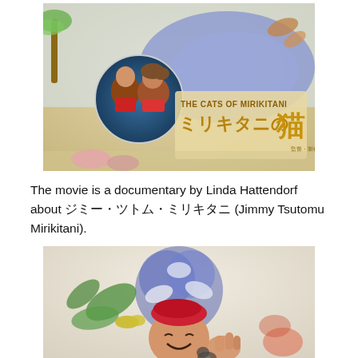[Figure (photo): Movie poster for 'The Cats of Mirikitani' (ミリキタニの猫) showing illustrated cats and birds with two people in a circular photo inset, title text in English and Japanese]
The movie is a documentary by Linda Hattendorf about ジミー・ツトム・ミリキタニ (Jimmy Tsutomu Mirikitani).
[Figure (photo): Photo of Jimmy Tsutomu Mirikitani wearing a red beret, smiling, in front of colorful illustrated artwork of flowers and cats]